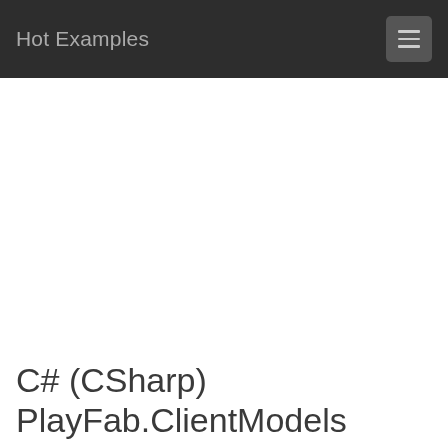Hot Examples
[Figure (other): Advertisement / empty ad area]
C# (CSharp) PlayFab.ClientModels ExecuteCloudScriptResult